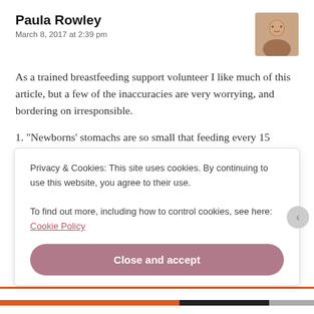Paula Rowley
March 8, 2017 at 2:39 pm
As a trained breastfeeding support volunteer I like much of this article, but a few of the inaccuracies are very worrying, and bordering on irresponsible.
1. “Newborns’ stomachs are so small that feeding every 15 minutes is a variation of normal! Some newborns are efficient sucklers, so they may only need to be on the breast for 5 minutes and then sleep for
Privacy & Cookies: This site uses cookies. By continuing to use this website, you agree to their use.
To find out more, including how to control cookies, see here: Cookie Policy
Close and accept